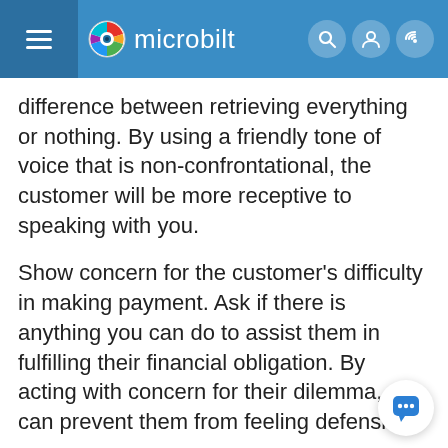microbilt
difference between retrieving everything or nothing. By using a friendly tone of voice that is non-confrontational, the customer will be more receptive to speaking with you.
Show concern for the customer's difficulty in making payment. Ask if there is anything you can do to assist them in fulfilling their financial obligation. By acting with concern for their dilemma, you can prevent them from feeling defensive.
Even in a debt collection email, phrasing can determine whether a client mentally shuts down or proceeds. Something as simple as changing “pay now” to “view my statement” can make the difference in whether or not a debtor clicks thro…